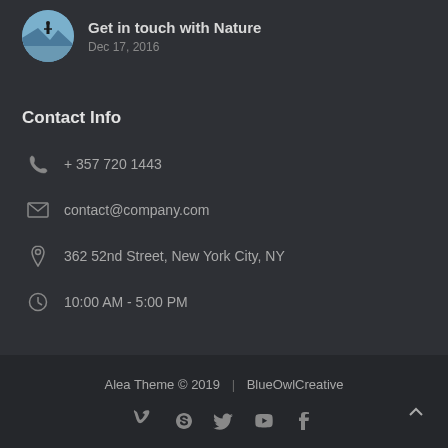[Figure (illustration): Circular thumbnail image of a person standing on a mountain/cliff with nature/water background]
Get in touch with Nature
Dec 17, 2016
Contact Info
+ 357 720 1443
contact@company.com
362 52nd Street, New York City, NY
10:00 AM - 5:00 PM
Alea Theme © 2019  |  BlueOwlCreative